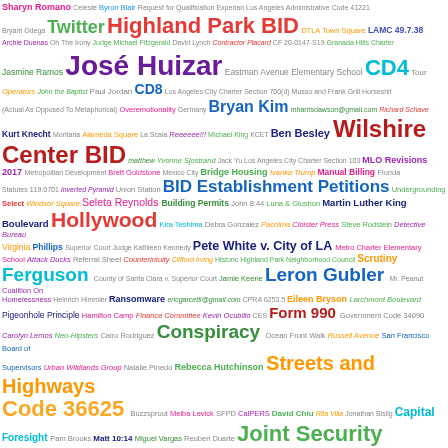[Figure (infographic): Word cloud containing government, legal, and civic terms related to Los Angeles city government, BID establishments, political figures, and legal concepts. Terms vary in size, color, and weight indicating frequency/importance.]